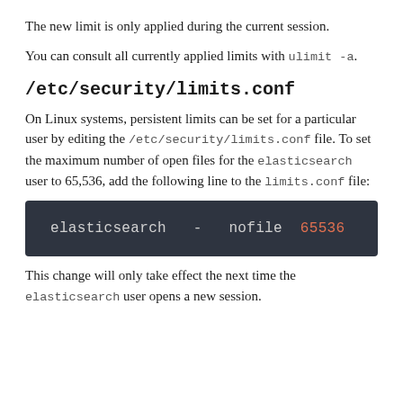The new limit is only applied during the current session.
You can consult all currently applied limits with ulimit -a.
/etc/security/limits.conf
On Linux systems, persistent limits can be set for a particular user by editing the /etc/security/limits.conf file. To set the maximum number of open files for the elasticsearch user to 65,536, add the following line to the limits.conf file:
[Figure (screenshot): Code block on dark background showing: elasticsearch - nofile 65536]
This change will only take effect the next time the elasticsearch user opens a new session.